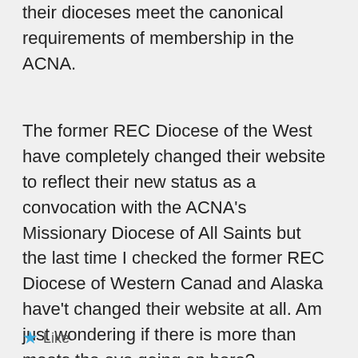their dioceses meet the canonical requirements of membership in the ACNA.
The former REC Diocese of the West have completely changed their website to reflect their new status as a convocation with the ACNA's Missionary Diocese of All Saints but the last time I checked the former REC Diocese of Western Canad and Alaska have't changed their website at all. Am just wondering if there is more than meets the eye going on here?
★ Like